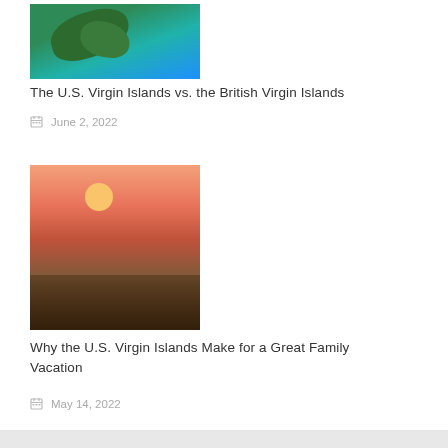[Figure (photo): Aerial view of a tropical island with green vegetation surrounded by turquoise water]
The U.S. Virgin Islands vs. the British Virgin Islands
June 2, 2022
[Figure (photo): Family silhouettes standing on a wooden pier at sunset over the ocean]
Why the U.S. Virgin Islands Make for a Great Family Vacation
May 14, 2022